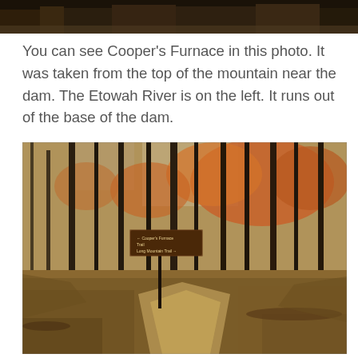[Figure (photo): Partial top edge of a forest/nature photograph, cropped at the top of the page]
You can see Cooper’s Furnace in this photo. It was taken from the top of the mountain near the dam. The Etowah River is on the left. It runs out of the base of the dam.
[Figure (photo): Autumn forest trail with bare trees and orange foliage, leaf-covered ground, and a brown wooden directional trail sign post in the middle of the image indicating Cooper's Furnace trail directions]